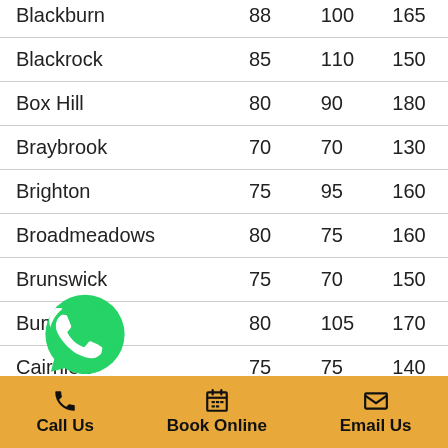| Location | Col1 | Col2 | Col3 |
| --- | --- | --- | --- |
| Blackburn | 88 | 100 | 165 |
| Blackrock | 85 | 110 | 150 |
| Box Hill | 80 | 90 | 180 |
| Braybrook | 70 | 70 | 130 |
| Brighton | 75 | 95 | 160 |
| Broadmeadows | 80 | 75 | 160 |
| Brunswick | 75 | 70 | 150 |
| Burwood | 80 | 105 | 170 |
| Cairnlea | 75 | 75 | 140 |
| C[whatsapp]l | 75 | 90 | 165 |
| Campbellfield | 85 | 70 | 165 |
Call Us | Book Online | Email Us